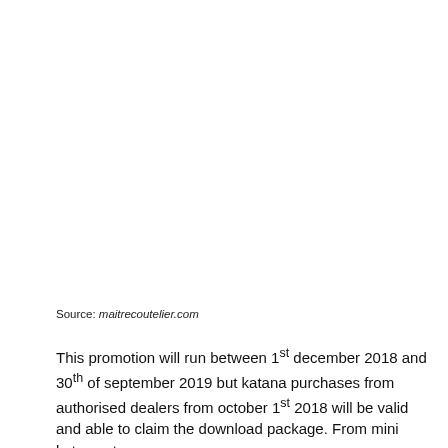Source: maitrecoutelier.com
This promotion will run between 1st december 2018 and 30th of september 2019 but katana purchases from authorised dealers from october 1st 2018 will be valid and able to claim the download package. From mini katana store … can you guess what it is?